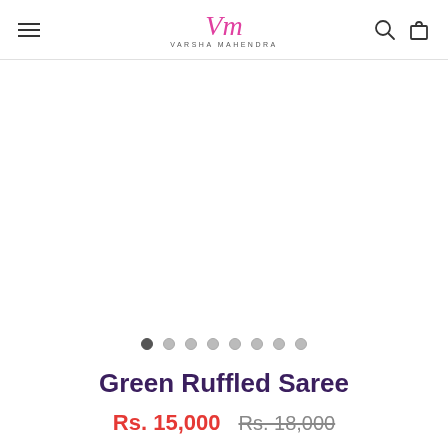Varsha Mahendra — navigation header with logo, hamburger menu, search and cart icons
[Figure (other): Product image area (white/blank) for Green Ruffled Saree with image carousel dots below]
Green Ruffled Saree
Rs. 15,000  Rs. 18,000